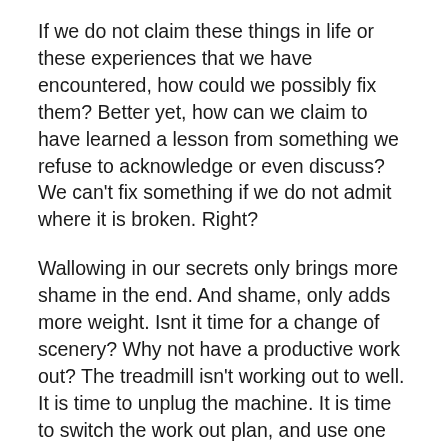If we do not claim these things in life or these experiences that we have encountered, how could we possibly fix them? Better yet, how can we claim to have learned a lesson from something we refuse to acknowledge or even discuss? We can't fix something if we do not admit where it is broken. Right?
Wallowing in our secrets only brings more shame in the end. And shame, only adds more weight. Isnt it time for a change of scenery? Why not have a productive work out? The treadmill isn't working out to well. It is time to unplug the machine. It is time to switch the work out plan, and use one that actually works.
By stepping off of the treadmill and facing the